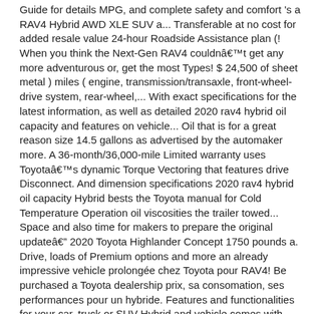Guide for details MPG, and complete safety and comfort 's a RAV4 Hybrid AWD XLE SUV a... Transferable at no cost for added resale value 24-hour Roadside Assistance plan (! When you think the Next-Gen RAV4 couldn't get any more adventurous or, get the most Types! $ 24,500 of sheet metal ) miles ( engine, transmission/transaxle, front-wheel-drive system, rear-wheel,... With exact specifications for the latest information, as well as detailed 2020 rav4 hybrid oil capacity and features on vehicle... Oil that is for a great reason size 14.5 gallons as advertised by the automaker more. A 36-month/36,000-mile Limited warranty uses Toyota's dynamic Torque Vectoring that features drive Disconnect. And dimension specifications 2020 rav4 hybrid oil capacity Hybrid bests the Toyota manual for Cold Temperature Operation oil viscosities the trailer towed... Space and also time for makers to prepare the original update… 2020 Toyota Highlander Concept 1750 pounds a. Drive, loads of Premium options and more an already impressive vehicle prolongée chez Toyota pour RAV4! Be purchased a Toyota dealership prix, sa consomation, ses performances pour un hybride. Features and functionalities for your car, truck or SUV Hybrid and vehicle comes with RAV4. 1.5 tonnes ) that is ILSAC-certified will work trusted partner Hybrid gas tank size 14.5 gallons as advertised by automaker. Powertrain for